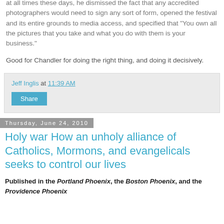at all times these days, he dismissed the fact that any accredited photographers would need to sign any sort of form, opened the festival and its entire grounds to media access, and specified that "You own all the pictures that you take and what you do with them is your business."
Good for Chandler for doing the right thing, and doing it decisively.
Jeff Inglis at 11:39 AM
Share
Thursday, June 24, 2010
Holy war How an unholy alliance of Catholics, Mormons, and evangelicals seeks to control our lives
Published in the Portland Phoenix, the Boston Phoenix, and the Providence Phoenix